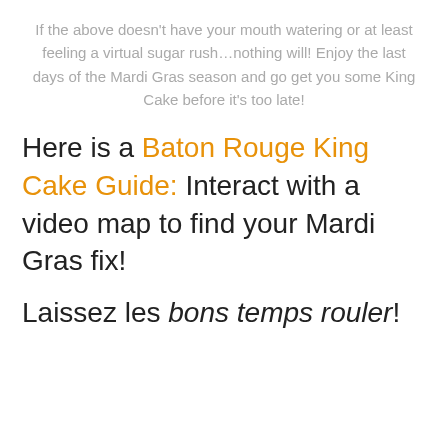If the above doesn't have your mouth watering or at least feeling a virtual sugar rush…nothing will! Enjoy the last days of the Mardi Gras season and go get you some King Cake before it's too late!
Here is a Baton Rouge King Cake Guide: Interact with a video map to find your Mardi Gras fix!
Laissez les bons temps rouler!